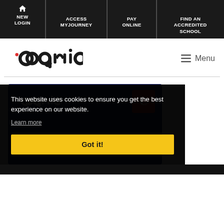NEW LOGIN | ACCESS MYJOURNEY | PAY ONLINE | FIND AN ACCREDITED SCHOOL
[Figure (logo): Cognia logo in black on white background with hamburger menu icon and Menu text]
[Figure (screenshot): Partial view of a Cognia branded blue card with white cognia logo and red icon, partially obscured by cookie consent overlay]
This website uses cookies to ensure you get the best experience on our website.
Learn more
Got it!